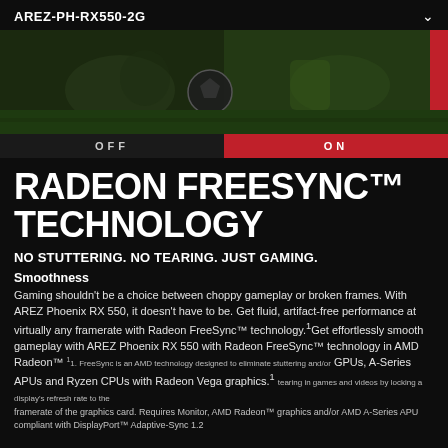AREZ-PH-RX550-2G
[Figure (photo): Soccer goalkeeper diving to save a ball, with a split-screen OFF/ON comparison showing Radeon FreeSync technology effect. Red accent bar on the right side. OFF and ON labels at the bottom.]
RADEON FREESYNC™ TECHNOLOGY
NO STUTTERING. NO TEARING. JUST GAMING.
Smoothness
Gaming shouldn't be a choice between choppy gameplay or broken frames. With AREZ Phoenix RX 550, it doesn't have to be. Get fluid, artifact-free performance at virtually any framerate with Radeon FreeSync™ technology.¹Get effortlessly smooth gameplay with AREZ Phoenix RX 550 with Radeon FreeSync™ technology in AMD Radeon™ GPUs, A-Series APUs and Ryzen CPUs with Radeon Vega graphics.¹
¹1. FreeSync is an AMD technology designed to eliminate stuttering and/or tearing in games and videos by locking a display's refresh rate to the framerate of the graphics card. Requires Monitor, AMD Radeon™ graphics and/or AMD A-Series APU compliant with DisplayPort™ Adaptive-Sync 1.2